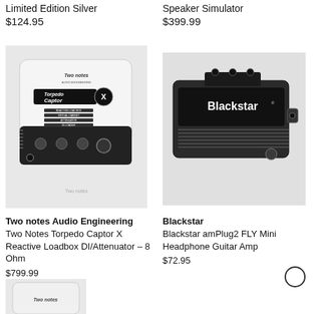Limited Edition Silver
$124.95
Speaker Simulator
$399.99
[Figure (photo): Two notes Audio Engineering Torpedo Captor X white unit with knobs and labels]
[Figure (photo): Blackstar amPlug2 FLY Mini Headphone Guitar Amp, black rectangular device]
Two notes Audio Engineering
Two Notes Torpedo Captor X Reactive Loadbox DI/Attenuator – 8 Ohm
$799.99
Blackstar
Blackstar amPlug2 FLY Mini Headphone Guitar Amp
$72.95
[Figure (photo): Partial view of another Two notes Audio Engineering product at bottom left]